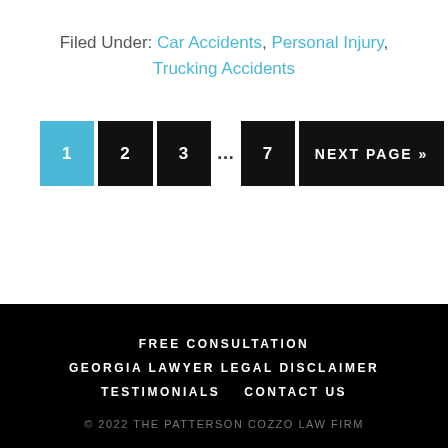Filed Under: Car Accidents, Personal Injury, Trucking Accidents
[Figure (other): Pagination navigation with page buttons: 1 (active/blue), 2, 3, ..., 7, NEXT PAGE »]
FREE CONSULTATION  GEORGIA LAWYER LEGAL DISCLAIMER  TESTIMONIALS  CONTACT US  © 2022 THE PATTERSON COZZO LAW FIRM